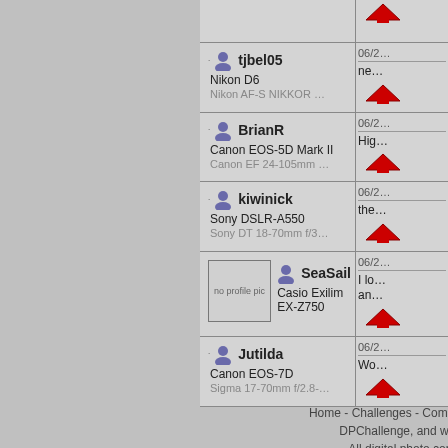| User / Camera / Lens | Date / Comment / Vote |
| --- | --- |
| tjbel05 | Nikon D6 | Nikon AF-S NIKKOR … | 06/2… | ne… | vote |
| BrianR | Canon EOS-5D Mark II | Canon EF 24-105mm … | 06/2… | Hig… | vote |
| kiwinick | Sony DSLR-A550 | Sony DT 18-70mm f/3… | 06/2… | the… | vote |
| SeaSail | Casio Exilim EX-Z750 | (no profile pic) | 06/2… | I lo… an… | vote |
| Jutilda | Canon EOS-7D | Sigma 17-70mm f/2.8-… | 06/2… | Wo… | vote |
Home - Challenges - Community - Leagu… DPChallenge, and website co… All digital photo copyrights… Proudly hosted by Saro…